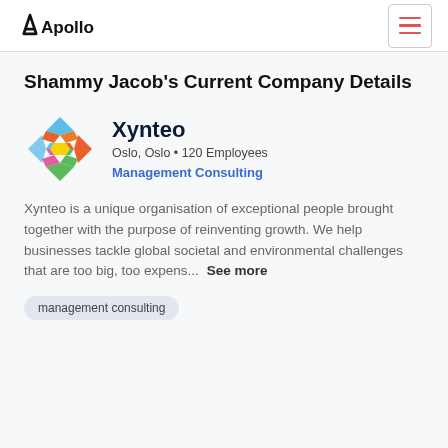Apollo
Shammy Jacob's Current Company Details
[Figure (logo): Xynteo colorful X-shaped logo made of diamond shapes in blue, orange, green, pink, and yellow]
Xynteo
Oslo, Oslo • 120 Employees
Management Consulting
Xynteo is a unique organisation of exceptional people brought together with the purpose of reinventing growth. We help businesses tackle global societal and environmental challenges that are too big, too expens... See more
management consulting